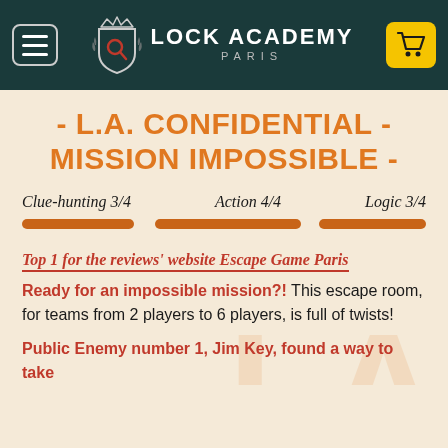LOCK ACADEMY PARIS
- L.A. CONFIDENTIAL - MISSION IMPOSSIBLE -
Clue-hunting 3/4   Action 4/4   Logic 3/4
Top 1 for the reviews' website Escape Game Paris
Ready for an impossible mission?! This escape room, for teams from 2 players to 6 players, is full of twists!
Public Enemy number 1, Jim Key, found a way to take